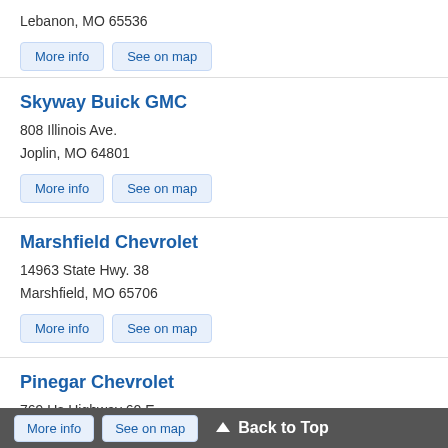Lebanon, MO 65536
More info | See on map
Skyway Buick GMC
808 Illinois Ave.
Joplin, MO 64801
More info | See on map
Marshfield Chevrolet
14963 State Hwy. 38
Marshfield, MO 65706
More info | See on map
Pinegar Chevrolet
769 Us Highway 60 E
Republic, MO 65738
More info  See on map  ▲ Back to Top